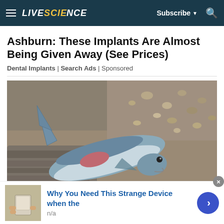LIVESCIENCE  Subscribe  🔍
Ashburn: These Implants Are Almost Being Given Away (See Prices)
Dental Implants | Search Ads | Sponsored
[Figure (photo): A dead shark or similar fish lying on a rocky, sandy beach. The fish appears silvery-blue and is lying flat on wet sand surrounded by pebbles and shells.]
Why You Need This Strange Device when the
n/a